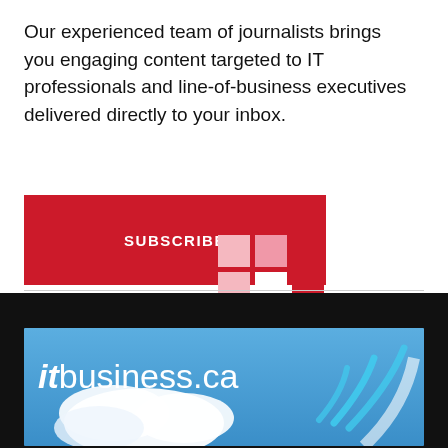Our experienced team of journalists brings you engaging content targeted to IT professionals and line-of-business executives delivered directly to your inbox.
[Figure (other): Red SUBSCRIBE button]
[Figure (logo): Grid logo made of pink and red squares arranged in a 3x3 pattern with center square white]
[Figure (other): itbusiness.ca banner with blue sky, clouds, and wireless signal arcs on black background]